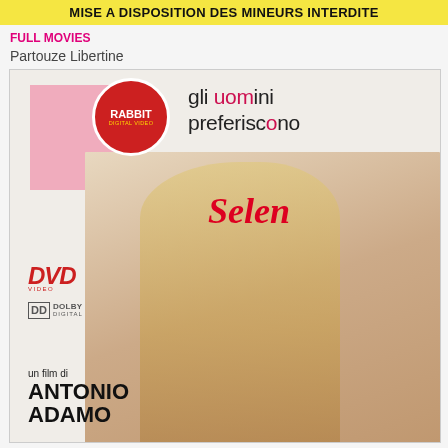MISE A DISPOSITION DES MINEURS INTERDITE
FULL MOVIES
Partouze Libertine
[Figure (photo): DVD cover for 'gli uomini preferiscono Selen', a film by Antonio Adamo, Rabbit Digital Video label, with DVD and Dolby Digital logos, featuring a blonde woman on the cover.]